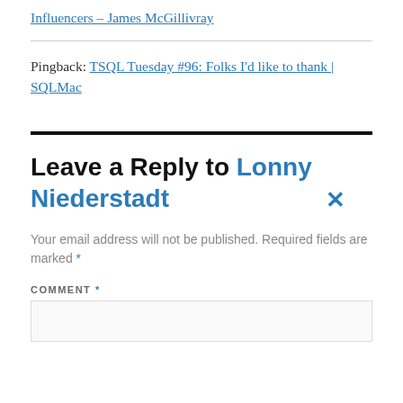Influencers – James McGillivray
Pingback: TSQL Tuesday #96: Folks I'd like to thank | SQLMac
Leave a Reply to Lonny Niederstadt
Your email address will not be published. Required fields are marked *
COMMENT *